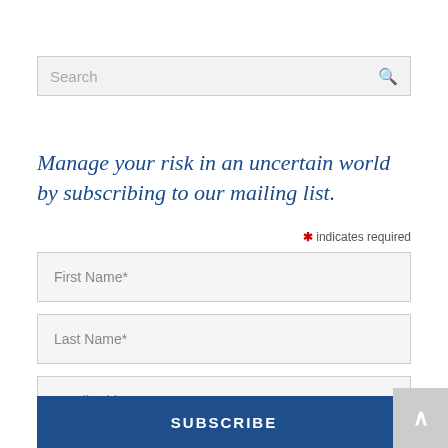[Figure (other): Search bar with placeholder text 'Search' and a magnifying glass icon on the right]
Manage your risk in an uncertain world by subscribing to our mailing list.
* indicates required
First Name*
Last Name*
Email Address*
SUBSCRIBE